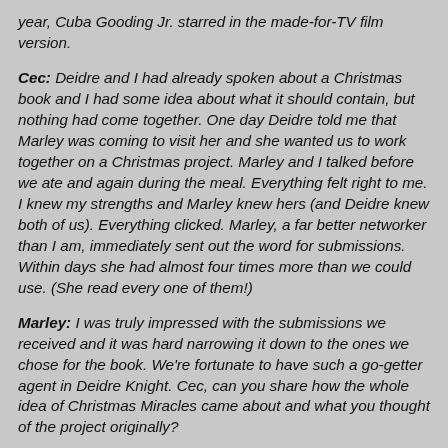year, Cuba Gooding Jr. starred in the made-for-TV film version.
Cec: Deidre and I had already spoken about a Christmas book and I had some idea about what it should contain, but nothing had come together. One day Deidre told me that Marley was coming to visit her and she wanted us to work together on a Christmas project. Marley and I talked before we ate and again during the meal. Everything felt right to me. I knew my strengths and Marley knew hers (and Deidre knew both of us). Everything clicked. Marley, a far better networker than I am, immediately sent out the word for submissions. Within days she had almost four times more than we could use. (She read every one of them!)
Marley: I was truly impressed with the submissions we received and it was hard narrowing it down to the ones we chose for the book. We're fortunate to have such a go-getter agent in Deidre Knight. Cec, can you share how the whole idea of Christmas Miracles came about and what you thought of the project originally?